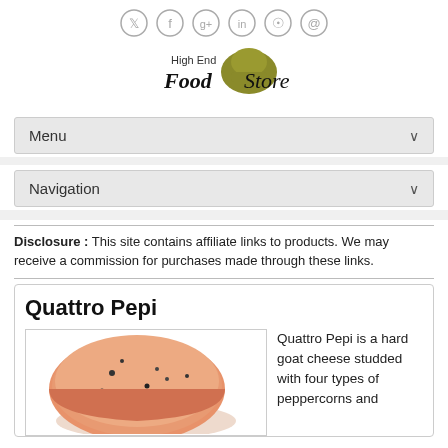High End Food Store - social icons and logo
Menu
Navigation
Disclosure : This site contains affiliate links to products. We may receive a commission for purchases made through these links.
Quattro Pepi
[Figure (photo): Round orange-pink cheese wheel with visible black peppercorns - Quattro Pepi goat cheese]
Quattro Pepi is a hard goat cheese studded with four types of peppercorns and